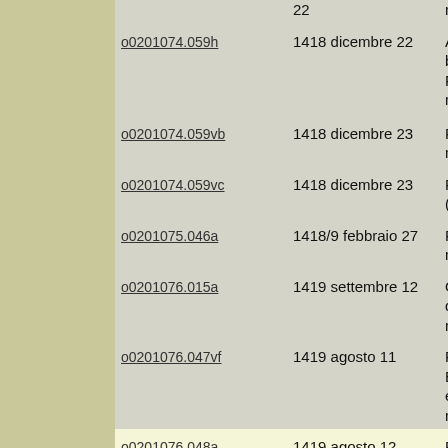| ID | Date | Description |
| --- | --- | --- |
|  | 22 | ma |
| o0201074.059h | 1418 dicembre 22 | Ab bo Fi me |
| o0201074.059vb | 1418 dicembre 23 | Pa ma |
| o0201074.059vc | 1418 dicembre 23 | Pu (o |
| o0201075.046a | 1418/9 febbraio 27 | Pa me |
| o0201076.015a | 1419 settembre 12 | Or de ma |
| o0201076.047vf | 1419 agosto 11 | Pa Ba ex me |
| o0201076.048a | 1419 agosto 12 | Pa ex lan ma |